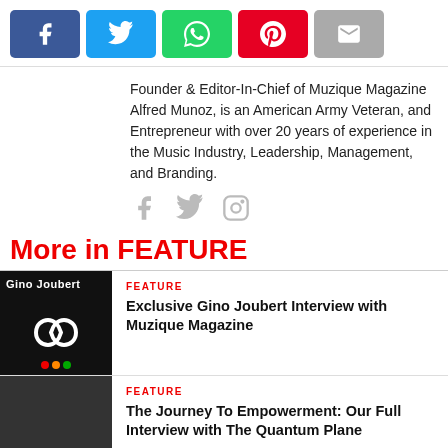[Figure (other): Row of five social share buttons: Facebook (blue), Twitter (cyan), WhatsApp (green), Pinterest (red), Email (gray)]
Founder & Editor-In-Chief of Muzique Magazine Alfred Munoz, is an American Army Veteran, and Entrepreneur with over 20 years of experience in the Music Industry, Leadership, Management, and Branding.
[Figure (other): Three social icons: Facebook, Twitter, Instagram in gray]
More in FEATURE
[Figure (other): Thumbnail image: black background with 'Gino Joubert' text and infinity symbol logo, colored dots at bottom]
FEATURE
Exclusive Gino Joubert Interview with Muzique Magazine
[Figure (other): Thumbnail image: dark gray/black background]
FEATURE
The Journey To Empowerment: Our Full Interview with The Quantum Plane